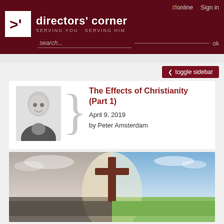tfi online   Sign in   directors' corner   SERVING YOU SERVING HIM   search...   ok
The Effects of Christianity (Part 1)
April 9, 2019
by Peter Amsterdam
[Figure (photo): A large wooden cross standing outdoors, split scene: left side shows a misty waterscape with overcast sky, right side shows green grass and blue sky with light clouds.]
(Points from this article were taken from How Christianity Changed the